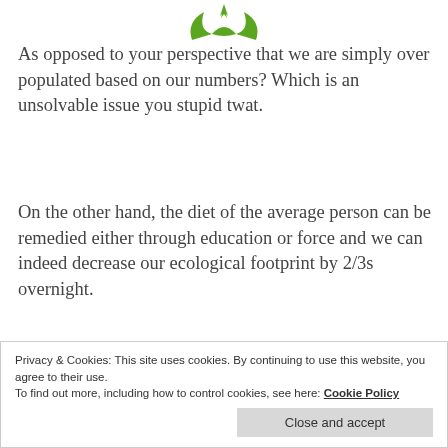[Figure (logo): Green stylized leaf/plant logo icon]
As opposed to your perspective that we are simply over populated based on our numbers? Which is an unsolvable issue you stupid twat.
On the other hand, the diet of the average person can be remedied either through education or force and we can indeed decrease our ecological footprint by 2/3s overnight.
Privacy & Cookies: This site uses cookies. By continuing to use this website, you agree to their use.
To find out more, including how to control cookies, see here: Cookie Policy
Close and accept